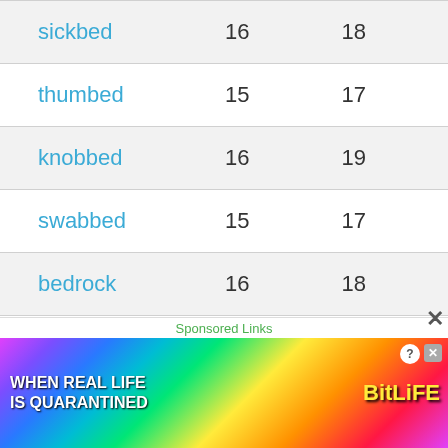| sickbed | 16 | 18 |
| thumbed | 15 | 17 |
| knobbed | 16 | 19 |
| swabbed | 15 | 17 |
| bedrock | 16 | 18 |
| bedizen | 19 | 21 |
| bedecks | 16 | 18 |
| flubbed | 17 | 19 |
| bedim | 21 | 18 |
Sponsored Links
[Figure (photo): BitLife mobile game advertisement banner: 'When real life is quarantined' with colorful rainbow background and emoji characters]